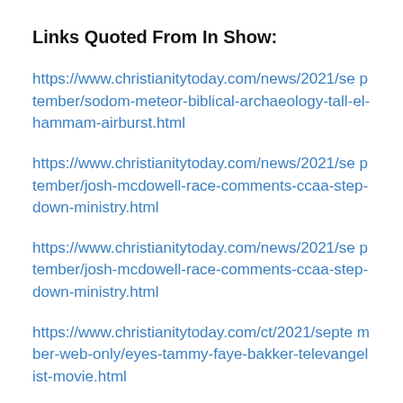Links Quoted From In Show:
https://www.christianitytoday.com/news/2021/september/sodom-meteor-biblical-archaeology-tall-el-hammam-airburst.html
https://www.christianitytoday.com/news/2021/september/josh-mcdowell-race-comments-ccaa-step-down-ministry.html
https://www.christianitytoday.com/news/2021/september/josh-mcdowell-race-comments-ccaa-step-down-ministry.html
https://www.christianitytoday.com/ct/2021/september-web-only/eyes-tammy-faye-bakker-televangelist-movie.html